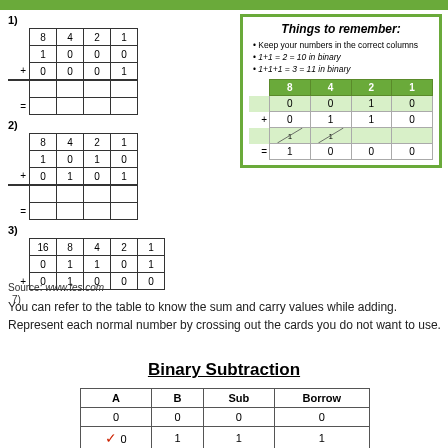[Figure (table-as-image): Binary addition exercises 1, 2, 3 with column tables]
[Figure (table-as-image): Things to remember box with inner binary addition example table]
Source: www.tes.com
You can refer to the table to know the sum and carry values while adding. Represent each normal number by crossing out the cards you do not want to use.
Binary Subtraction
| A | B | Sub | Borrow |
| --- | --- | --- | --- |
| 0 | 0 | 0 | 0 |
| 0 | 1 | 1 | 1 |
| 1 | 0 | 1 | 0 |